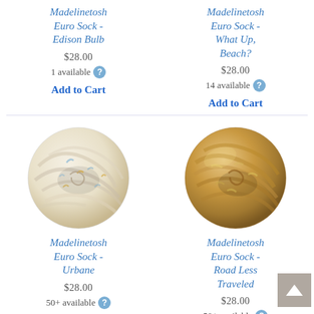Madelinetosh Euro Sock - Edison Bulb
$28.00
1 available
Add to Cart
Madelinetosh Euro Sock - What Up, Beach?
$28.00
14 available
Add to Cart
[Figure (photo): Skein of Madelinetosh Euro Sock yarn in Urbane colorway - cream/white with light blue and yellow flecks, wound in a ball]
Madelinetosh Euro Sock - Urbane
$28.00
50+ available
Add to Cart
[Figure (photo): Skein of Madelinetosh Euro Sock yarn in Road Less Traveled colorway - warm golden brown with subtle color variations, wound in a ball]
Madelinetosh Euro Sock - Road Less Traveled
$28.00
50+ available
Add to Cart